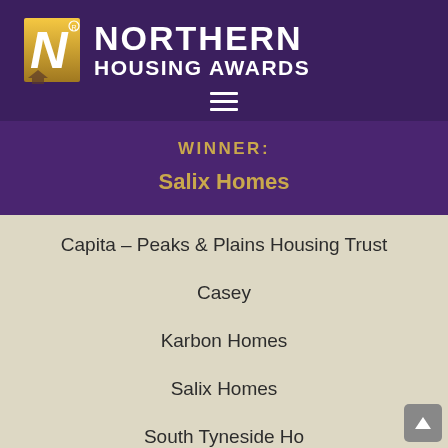[Figure (logo): Northern Housing Awards logo with golden N and house icon on dark purple background]
WINNER: Salix Homes
Capita – Peaks & Plains Housing Trust
Casey
Karbon Homes
Salix Homes
South Tyneside Homes (partial, cut off)